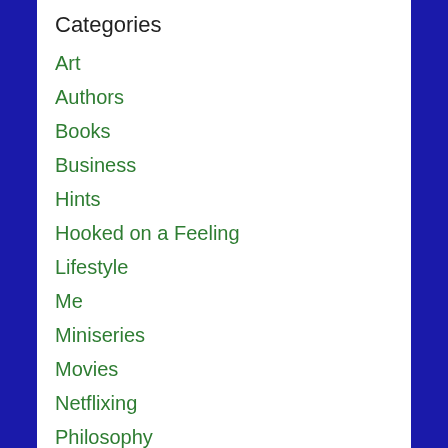Categories
Art
Authors
Books
Business
Hints
Hooked on a Feeling
Lifestyle
Me
Miniseries
Movies
Netflixing
Philosophy